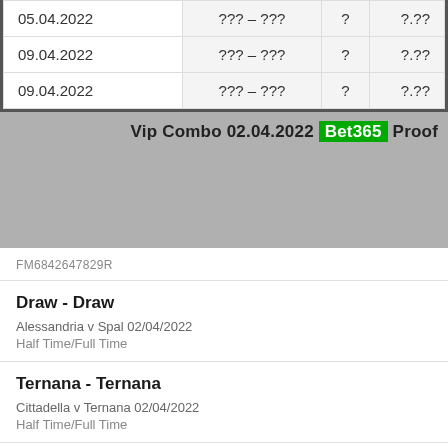| Date | Score | ? | ?.?? |
| --- | --- | --- | --- |
| 05.04.2022 | ??? – ??? | ? | ?.?? |
| 09.04.2022 | ??? – ??? | ? | ?.?? |
| 09.04.2022 | ??? – ??? | ? | ?.?? |
Vip Combo 02.04.2022 Bet365 Proof
FM6842647829R
Draw - Draw
Alessandria v Spal 02/04/2022
Half Time/Full Time
Ternana - Ternana
Cittadella v Ternana 02/04/2022
Half Time/Full Time
Guingamp